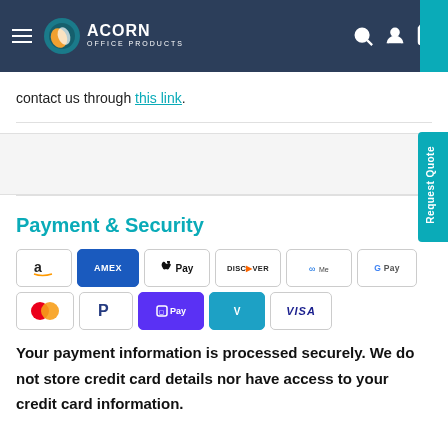[Figure (logo): Acorn Office Products logo with navigation header on dark navy background]
contact us through this link.
Payment & Security
[Figure (infographic): Payment method icons: Amazon, Amex, Apple Pay, Discover, Meta Pay, Google Pay, Mastercard, PayPal, Shop Pay, Venmo, Visa]
Your payment information is processed securely. We do not store credit card details nor have access to your credit card information.